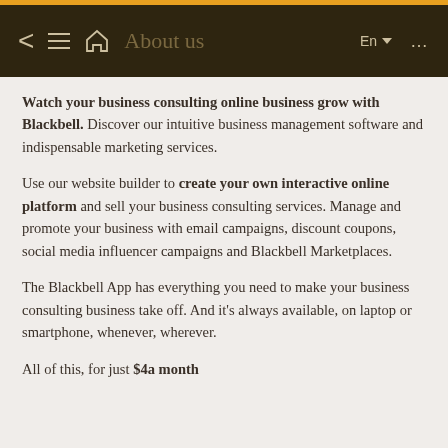About us
Watch your business consulting online business grow with Blackbell. Discover our intuitive business management software and indispensable marketing services.
Use our website builder to create your own interactive online platform and sell your business consulting services. Manage and promote your business with email campaigns, discount coupons, social media influencer campaigns and Blackbell Marketplaces.
The Blackbell App has everything you need to make your business consulting business take off. And it's always available, on laptop or smartphone, whenever, wherever.
All of this, for just $4a month